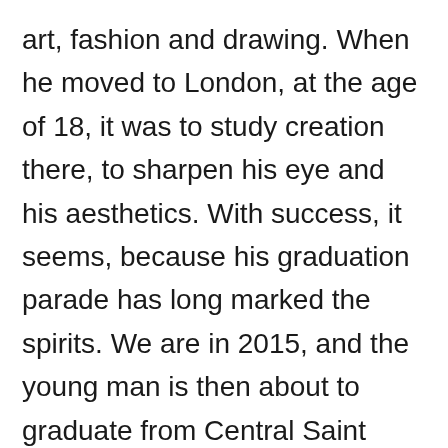art, fashion and drawing. When he moved to London, at the age of 18, it was to study creation there, to sharpen his eye and his aesthetics. With success, it seems, because his graduation parade has long marked the spirits. We are in 2015, and the young man is then about to graduate from Central Saint Martins, where he was able to benefit from the wise advice of Professor Louise Wilson. She is the one